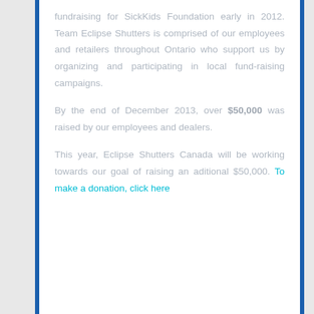fundraising for SickKids Foundation early in 2012. Team Eclipse Shutters is comprised of our employees and retailers throughout Ontario who support us by organizing and participating in local fund-raising campaigns.
By the end of December 2013, over $50,000 was raised by our employees and dealers.
This year, Eclipse Shutters Canada will be working towards our goal of raising an aditional $50,000. To make a donation, click here